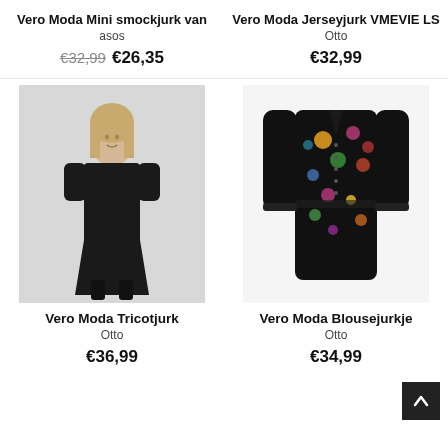Vero Moda Mini smockjurk van
asos
€32,99  €26,35
Vero Moda Jerseyjurk VMEVIE LS
Otto
€32,99
[Figure (photo): Woman wearing a black midi dress with short sleeves and black boots, on light grey background]
[Figure (photo): Black floral print short dress with long sleeves, displayed on white background]
Vero Moda Tricotjurk
Otto
€36,99
Vero Moda Blousejurkje
Otto
€34,99